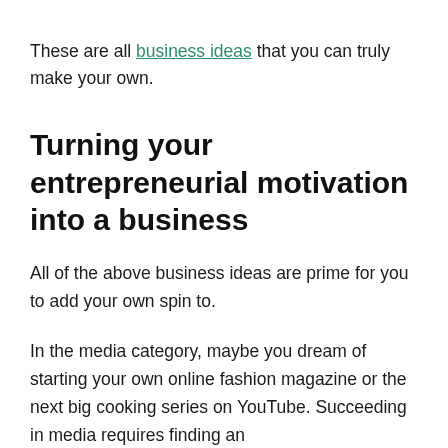These are all business ideas that you can truly make your own.
Turning your entrepreneurial motivation into a business
All of the above business ideas are prime for you to add your own spin to.
In the media category, maybe you dream of starting your own online fashion magazine or the next big cooking series on YouTube. Succeeding in media requires finding an